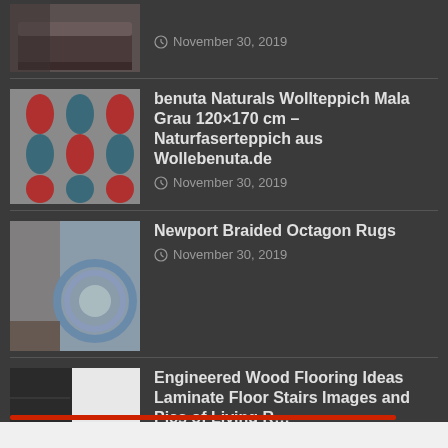November 30, 2019
benuta Naturals Wollteppich Mala Grau 120×170 cm – Naturfaserteppich aus Wollebenuta.de
November 30, 2019
Newport Braided Octagon Rugs
November 30, 2019
Engineered Wood Flooring Ideas Laminate Floor Stairs Images and Pics of Living R…
November 30, 2019
Daily Deals
November 30, 2019